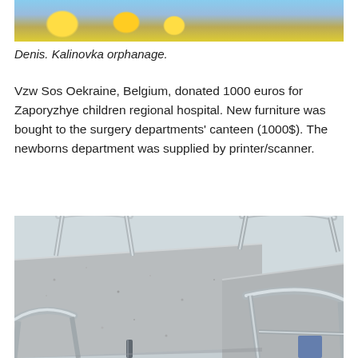[Figure (photo): Top portion of a photo showing children or decorative scene at Kalinovka orphanage, partially cropped at top of page]
Denis. Kalinovka orphanage.
Vzw Sos Oekraine, Belgium, donated 1000 euros for Zaporyzhye children regional hospital. New furniture was bought to the surgery departments' canteen (1000$). The newborns department was supplied by printer/scanner.
[Figure (photo): Photo of new canteen furniture: granite-topped tables with chrome/metal chairs in a hospital canteen setting]